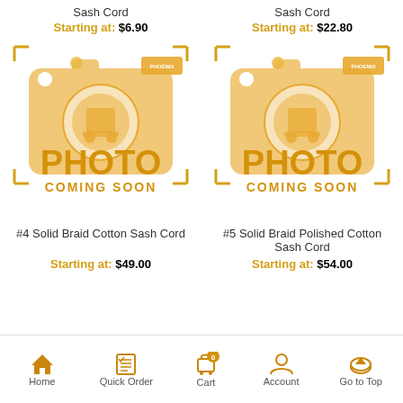Sash Cord
Starting at: $6.90
Sash Cord
Starting at: $22.80
[Figure (illustration): Photo coming soon placeholder with camera icon and PHOTO COMING SOON text - left product]
[Figure (illustration): Photo coming soon placeholder with camera icon and PHOTO COMING SOON text - right product]
#4 Solid Braid Cotton Sash Cord
Starting at: $49.00
#5 Solid Braid Polished Cotton Sash Cord
Starting at: $54.00
Home  Quick Order  Cart  Account  Go to Top